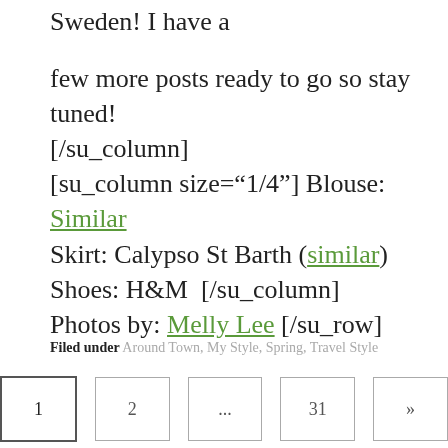Sweden! I have a
few more posts ready to go so stay tuned! [/su_column] [su_column size="1/4"] Blouse: Similar Skirt: Calypso St Barth (similar) Shoes: H&M  [/su_column] Photos by: Melly Lee [/su_row]
Filed under Around Town, My Style, Spring, Travel Style
1  2  ...  31  »